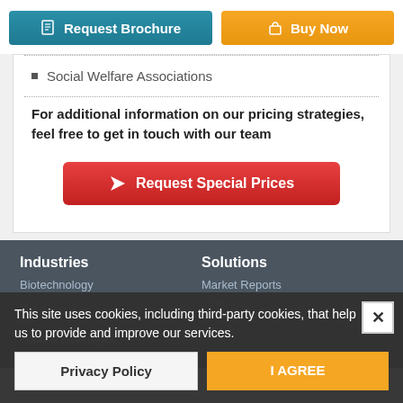[Figure (screenshot): Request Brochure button (teal) and Buy Now button (orange)]
Social Welfare Associations
For additional information on our pricing strategies, feel free to get in touch with our team
[Figure (screenshot): Request Special Prices red button with paper plane icon]
Industries
Solutions
Biotechnology
Market Reports
Food & Beverages
Healthcare
This site uses cookies, including third-party cookies, that help us to provide and improve our services.
Privacy Policy
I AGREE